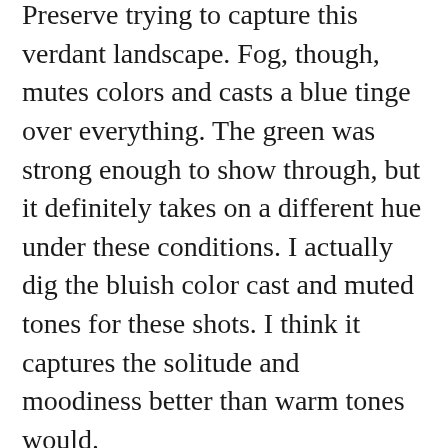Preserve trying to capture this verdant landscape. Fog, though, mutes colors and casts a blue tinge over everything. The green was strong enough to show through, but it definitely takes on a different hue under these conditions. I actually dig the bluish color cast and muted tones for these shots. I think it captures the solitude and moodiness better than warm tones would.
Well, after this rendezvous with Fog, she fled town like she always does. I'm sure she's off playing with some other photographer's emotions up north, making him feel like the most important guy in the world until she wads him up and throws him in the garbage like a used tissue. I should break it off with Fog, tell her it's over and I'm done with her teasing me like this. But who am I kidding? I'll be waiting by the window with camera in-hand until she finds her way back to town.